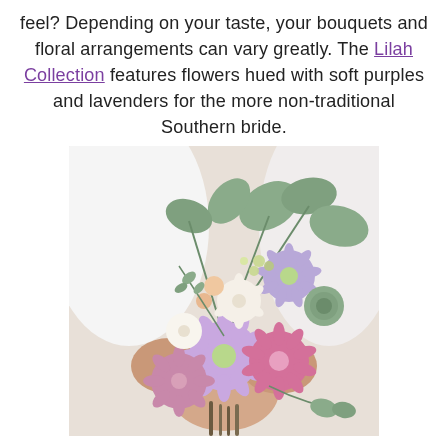feel? Depending on your taste, your bouquets and floral arrangements can vary greatly. The Lilah Collection features flowers hued with soft purples and lavenders for the more non-traditional Southern bride.
[Figure (photo): A bride in a white dress holding a lush bouquet of purple, lavender, pink, and white flowers with green eucalyptus leaves and succulents.]